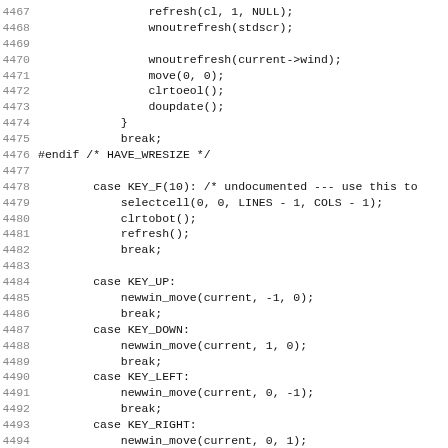Code listing lines 4467-4499 (C source code with ncurses key handling)